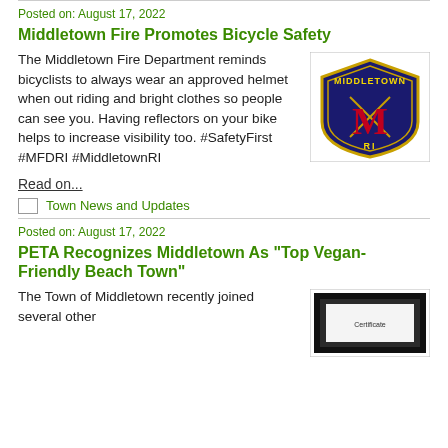Posted on: August 17, 2022
Middletown Fire Promotes Bicycle Safety
The Middletown Fire Department reminds bicyclists to always wear an approved helmet when out riding and bright clothes so people can see you. Having reflectors on your bike helps to increase visibility too. #SafetyFirst #MFDRI #MiddletownRI
[Figure (logo): Middletown Fire Department badge/shield logo with red M, yellow text MIDDLETOWN and RI on dark blue background]
Read on...
Town News and Updates
Posted on: August 17, 2022
PETA Recognizes Middletown As "Top Vegan-Friendly Beach Town"
The Town of Middletown recently joined several other
[Figure (photo): A framed certificate or award displayed on a surface]